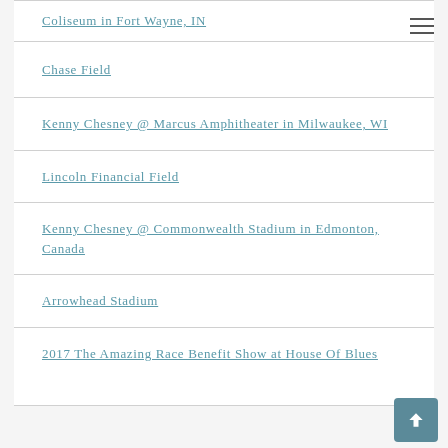Coliseum in Fort Wayne, IN
Chase Field
Kenny Chesney @ Marcus Amphitheater in Milwaukee, WI
Lincoln Financial Field
Kenny Chesney @ Commonwealth Stadium in Edmonton, Canada
Arrowhead Stadium
2017 The Amazing Race Benefit Show at House Of Blues